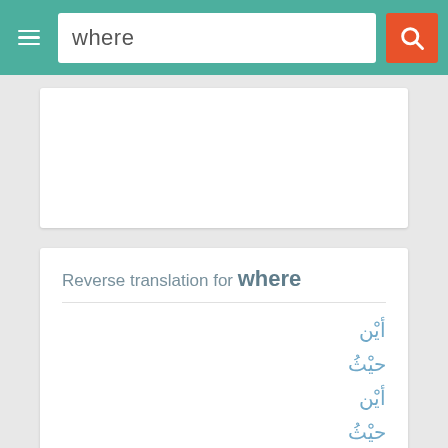where
Reverse translation for where
أيْن
حيْثُ
أيْن
حيْثُ
أيْن
حيْثُ